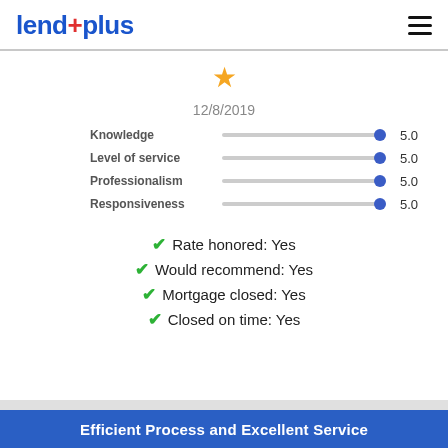[Figure (logo): lend+plus logo in blue with red plus sign]
12/8/2019
| Category | Score |
| --- | --- |
| Knowledge | 5.0 |
| Level of service | 5.0 |
| Professionalism | 5.0 |
| Responsiveness | 5.0 |
Rate honored: Yes
Would recommend: Yes
Mortgage closed: Yes
Closed on time: Yes
Efficient Process and Excellent Service